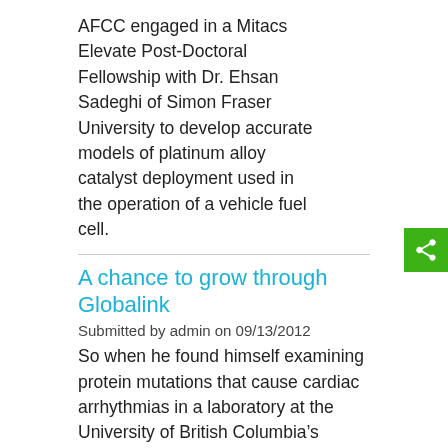AFCC engaged in a Mitacs Elevate Post-Doctoral Fellowship with Dr. Ehsan Sadeghi of Simon Fraser University to develop accurate models of platinum alloy catalyst deployment used in the operation of a vehicle fuel cell.
A chance to grow through Globalink
Submitted by admin on 09/13/2012
So when he found himself examining protein mutations that cause cardiac arrhythmias in a laboratory at the University of British Columbia's Department of Biochemistry and Molecular Biology, he knew he’d come a long way from where he once was.
Falling in love with Canada
Submitted by admin on 08/10/2012
Aarya— a third-year biotechnology student— was hoping to be able to hone her laboratory skills and knowledge of life sciences research before completing the final year of her degree. Though she had applied to a highly competitive life sciences research term in New York and